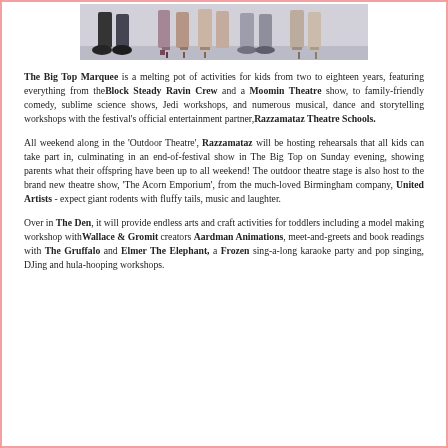[Figure (photo): Cropped photo showing legs and feet of several people standing, wearing various shoes including heels and boots, against a light background.]
The Big Top Marquee is a melting pot of activities for kids from two to eighteen years, featuring everything from the Block Steady Ravin Crew and a Moomin Theatre show, to family-friendly comedy, sublime science shows, Jedi workshops, and numerous musical, dance and storytelling workshops with the festival's official entertainment partner, Razzamataz Theatre Schools.
All weekend along in the ‘Outdoor Theatre’, Razzamataz will be hosting rehearsals that all kids can take part in, culminating in an end-of-festival show in The Big Top on Sunday evening, showing parents what their offspring have been up to all weekend! The outdoor theatre stage is also host to the brand new theatre show, ‘The Acorn Emporium’, from the much-loved Birmingham company, United Artists - expect giant rodents with fluffy tails, music and laughter.
Over in The Den, it will provide endless arts and craft activities for toddlers including a model making workshop with Wallace & Gromit creators Aardman Animations, meet-and-greets and book readings with The Gruffalo and Elmer The Elephant, a Frozen sing-a-long karaoke party and pop singing, DJing and hula-hooping workshops.